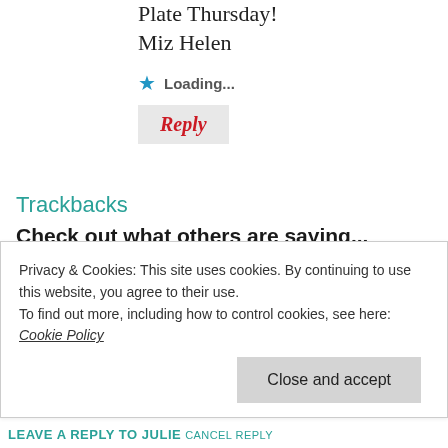Plate Thursday!
Miz Helen
Loading...
Reply
Trackbacks
Check out what others are saying...
The Organized Life, May Paint Bucket | The
April 29, 2018 at 5:04 am
[...] Minute Warm Figgy Bleu Cheese Dip with original [...]
Privacy & Cookies: This site uses cookies. By continuing to use this website, you agree to their use.
To find out more, including how to control cookies, see here: Cookie Policy
Close and accept
LEAVE A REPLY TO JULIE CANCEL REPLY